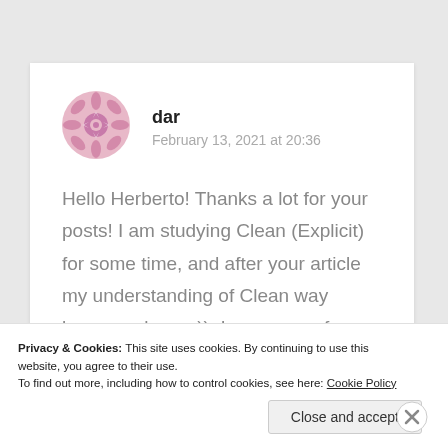[Figure (illustration): Pink snowflake/mandala avatar icon for user 'dar']
dar
February 13, 2021 at 20:36
Hello Herberto! Thanks a lot for your posts! I am studying Clean (Explicit) for some time, and after your article my understanding of Clean way become cleaner)). In process of reading some
Privacy & Cookies: This site uses cookies. By continuing to use this website, you agree to their use.
To find out more, including how to control cookies, see here: Cookie Policy
Close and accept